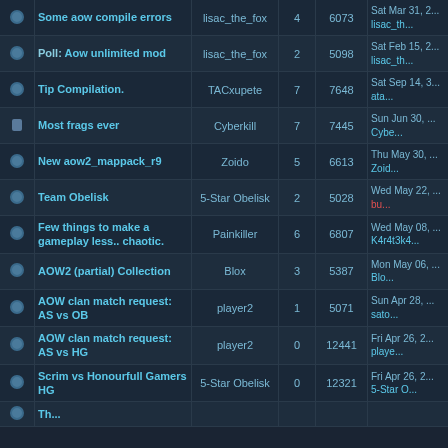|  | Topic | Author | Rep | Views | Last Post |
| --- | --- | --- | --- | --- | --- |
|  | Some aow compile errors | lisac_the_fox | 4 | 6073 | Sat Mar 31, ... lisac_th... |
|  | Poll: Aow unlimited mod | lisac_the_fox | 2 | 5098 | Sat Feb 15, 2... lisac_th... |
|  | Tip Compilation. | TACxupete | 7 | 7648 | Sat Sep 14, 3... ata... |
| lock | Most frags ever | Cyberkill | 7 | 7445 | Sun Jun 30, ... Cybe... |
|  | New aow2_mappack_r9 | Zoido | 5 | 6613 | Thu May 30, ... Zoid... |
|  | Team Obelisk | 5-Star Obelisk | 2 | 5028 | Wed May 22, ... bu... |
|  | Few things to make a gameplay less.. chaotic. | Painkiller | 6 | 6807 | Wed May 08, ... K4r4t3k4... |
|  | AOW2 (partial) Collection | Blox | 3 | 5387 | Mon May 06, ... Blo... |
|  | AOW clan match request: AS vs OB | player2 | 1 | 5071 | Sun Apr 28, ... sato... |
|  | AOW clan match request: AS vs HG | player2 | 0 | 12441 | Fri Apr 26, 2... playe... |
|  | Scrim vs Honourfull Gamers HG | 5-Star Obelisk | 0 | 12321 | Fri Apr 26, 2... 5-Star O... |
|  | The... another... |  |  |  |  |